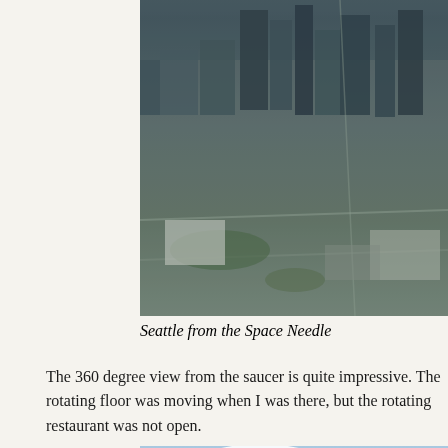[Figure (photo): Aerial view of Seattle city buildings and streets as seen from the Space Needle, showing downtown skyscrapers and urban grid.]
Seattle from the Space Needle
The 360 degree view from the saucer is quite impressive. The rotating floor was moving when I was there, but the rotating restaurant was not open.
[Figure (photo): Aerial view of Seattle waterfront area from the Space Needle showing Puget Sound, coastline with piers, clouds and blue sky.]